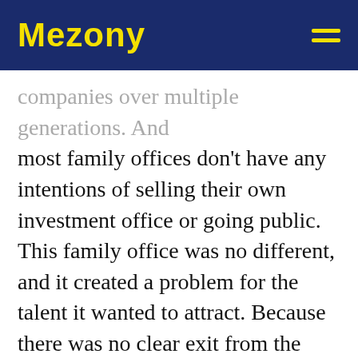Mezony
companies over multiple generations. And most family offices don't have any intentions of selling their own investment office or going public. This family office was no different, and it created a problem for the talent it wanted to attract. Because there was no clear exit from the firms it owned, there would be no clear payout events either. The candidate I placed wanted to know they had liquidity in the equity they owned even if they didn't plan to leave.